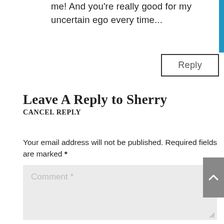me! And you're really good for my uncertain ego every time...
Reply
Leave A Reply to Sherry
Cancel Reply
Your email address will not be published. Required fields are marked *
Comment *